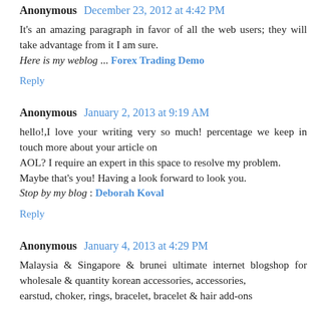Anonymous  December 23, 2012 at 4:42 PM
It's an amazing paragraph in favor of all the web users; they will take advantage from it I am sure.
Here is my weblog ... Forex Trading Demo
Reply
Anonymous  January 2, 2013 at 9:19 AM
hello!,I love your writing very so much! percentage we keep in touch more about your article on
AOL? I require an expert in this space to resolve my problem.
Maybe that's you! Having a look forward to look you.
Stop by my blog : Deborah Koval
Reply
Anonymous  January 4, 2013 at 4:29 PM
Malaysia & Singapore & brunei ultimate internet blogshop for wholesale & quantity korean accessories, accessories, earstud, choker, rings, bracelet, bracelet & hair add-ons